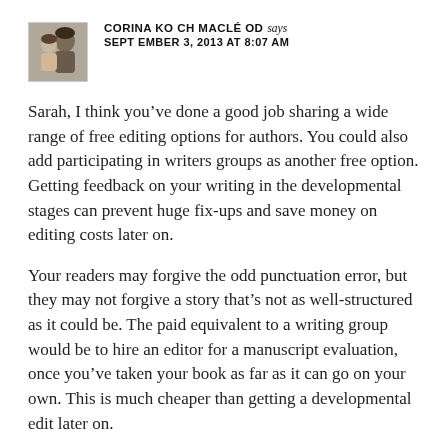[Figure (photo): Small avatar photo of Corina Koch MacLeod, showing two people]
CORINA KOCH MACLEOD says
SEPTEMBER 3, 2013 AT 8:07 AM
Sarah, I think you’ve done a good job sharing a wide range of free editing options for authors. You could also add participating in writers groups as another free option. Getting feedback on your writing in the developmental stages can prevent huge fix-ups and save money on editing costs later on.
Your readers may forgive the odd punctuation error, but they may not forgive a story that’s not as well-structured as it could be. The paid equivalent to a writing group would be to hire an editor for a manuscript evaluation, once you’ve taken your book as far as it can go on your own. This is much cheaper than getting a developmental edit later on.